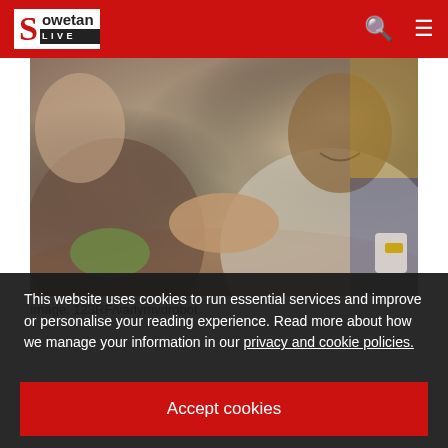Sowetan LIVE
[Figure (photo): Two people shaking hands across a table, one person smiling, indoor setting]
Image: 123RF/vadymvdrobot.
This website uses cookies to run essential services and improve or personalise your reading experience. Read more about how we manage your information in our privacy and cookie policies.
Accept cookies